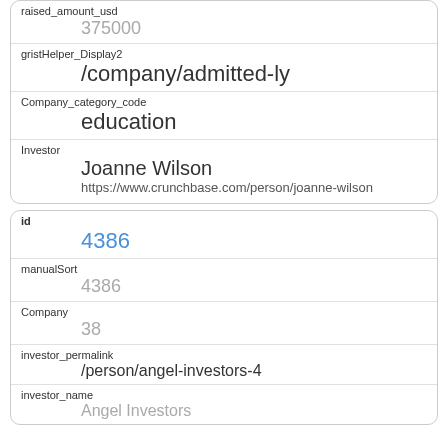| raised_amount_usd | 375000 |
| gristHelper_Display2 | /company/admitted-ly |
| Company_category_code | education |
| Investor | Joanne Wilson
https://www.crunchbase.com/person/joanne-wilson |
| id | 4386 |
| manualSort | 4386 |
| Company | 38 |
| investor_permalink | /person/angel-investors-4 |
| investor_name | Angel Investors |